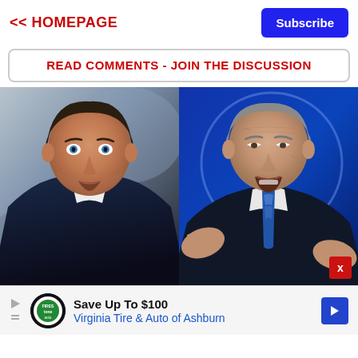<< HOMEPAGE
Subscribe
READ COMMENTS - JOIN THE DISCUSSION
[Figure (photo): Side-by-side photos of two politicians: on the left, a man in a navy suit looking upward (Ron DeSantis); on the right, an older man in a dark suit with blue tie gesturing with both hands (Joe Biden) against a blue blurred background with a circular halo effect.]
Save Up To $100
Virginia Tire & Auto of Ashburn